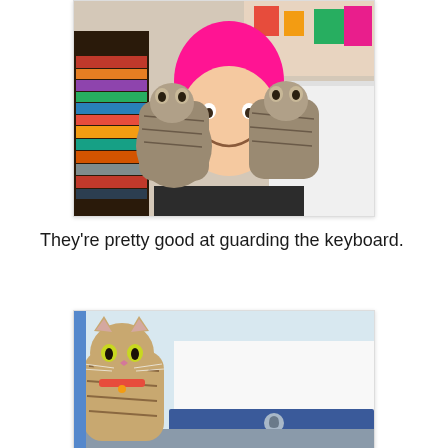[Figure (photo): A person with bright pink hair holding two tabby kittens up against their cheeks, smiling. The background shows a cluttered room with shelves of books and colorful items.]
They're pretty good at guarding the keyboard.
[Figure (photo): A tabby kitten sitting in front of an iMac computer monitor, appearing to guard the keyboard. The kitten has a small collar and looks directly at the camera.]